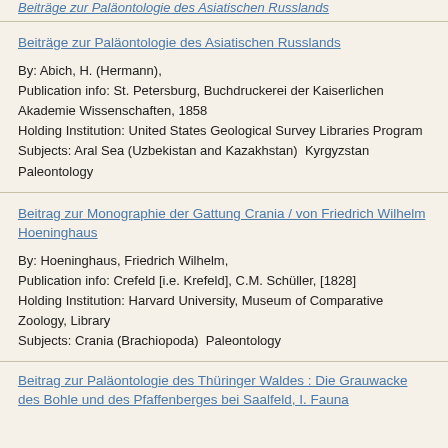Beiträge zur Paläontologie des Asiatischen Russlands (partial, top cut off)
By: Abich, H. (Hermann),
Publication info: St. Petersburg, Buchdruckerei der Kaiserlichen Akademie Wissenschaften, 1858
Holding Institution: United States Geological Survey Libraries Program
Subjects: Aral Sea (Uzbekistan and Kazakhstan)  Kyrgyzstan  Paleontology
Beitrag zur Monographie der Gattung Crania / von Friedrich Wilhelm Hoeninghaus
By: Hoeninghaus, Friedrich Wilhelm,
Publication info: Crefeld [i.e. Krefeld], C.M. Schüller, [1828]
Holding Institution: Harvard University, Museum of Comparative Zoology, Library
Subjects: Crania (Brachiopoda)  Paleontology
Beitrag zur Paläontologie des Thüringer Waldes : Die Grauwacke des Bohle und des Pfaffenberges bei Saalfeld, I. Fauna (partial, bottom cut off)